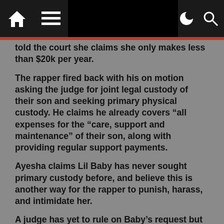Navigation bar with home icon, menu, dark mode and search icons
told the court she claims she only makes less than $20k per year.
The rapper fired back with his on motion asking the judge for joint legal custody of their son and seeking primary physical custody. He claims he already covers “all expenses for the “care, support and maintenance” of their son, along with providing regular support payments.
Ayesha claims Lil Baby has never sought primary custody before, and believe this is another way for the rapper to punish, harass, and intimidate her.
A judge has yet to rule on Baby’s request but hopefully both parties can come to a common ground.
Share